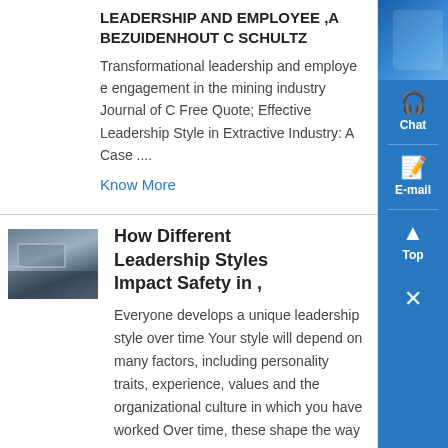LEADERSHIP AND EMPLOYEE ,A BEZUIDENHOUT C SCHULTZ
Transformational leadership and employe e engagement in the mining industry Journal of C Free Quote; Effective Leadership Style in Extractive Industry: A Case ....
Know More
[Figure (photo): Thumbnail photo of industrial/mining equipment structures outdoors]
How Different Leadership Styles Impact Safety in ,
Everyone develops a unique leadership style over time Your style will depend on many factors, including personality traits, experience, values and the organizational culture in which you have worked Over time, these shape the way